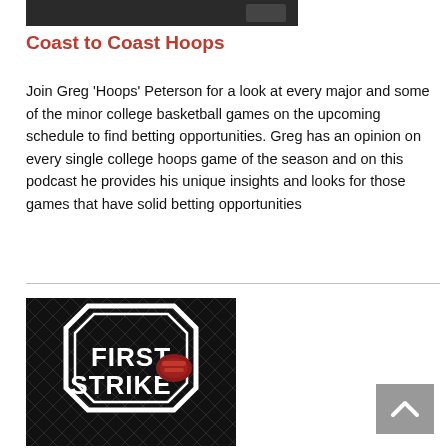[Figure (photo): Dark banner image at top, partially cropped podcast thumbnail]
Coast to Coast Hoops
Join Greg 'Hoops' Peterson for a look at every major and some of the minor college basketball games on the upcoming schedule to find betting opportunities. Greg has an opinion on every single college hoops game of the season and on this podcast he provides his unique insights and looks for those games that have solid betting opportunities
[Figure (logo): First Strike logo — white hexagonal/octagonal badge with 'FIRST STRIKE' text and a fist graphic on dark patterned background]